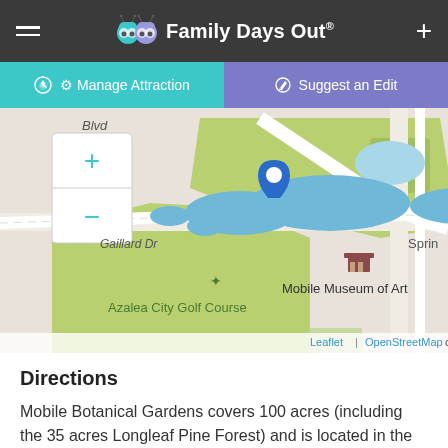Family Days Out®
Manage Attraction
Suggest an Edit
[Figure (map): Map showing Mobile Museum of Art and Azalea City Golf Course area with a blue location pin, and zoom +/- controls. Map data from Leaflet and OpenStreetMap contributors.]
Directions
Mobile Botanical Gardens covers 100 acres (including the 35 acres Longleaf Pine Forest) and is located in the Spring Hill community near the Mobile Museum of Art and Langan Park. Directions